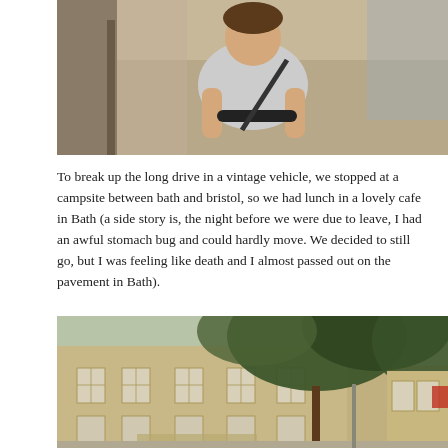[Figure (photo): Person sitting in the passenger seat of a vintage vehicle, holding onto what appears to be a seatbelt or strap. Interior shot with beige/cream upholstery visible.]
To break up the long drive in a vintage vehicle, we stopped at a campsite between bath and bristol, so we had lunch in a lovely cafe in Bath (a side story is, the night before we were due to leave, I had an awful stomach bug and could hardly move. We decided to still go, but I was feeling like death and I almost passed out on the pavement in Bath).
[Figure (photo): Street-level photo of a Georgian stone building in Bath, England, with large trees in the foreground. The building has tall sash windows and classical architecture typical of Bath's city centre.]